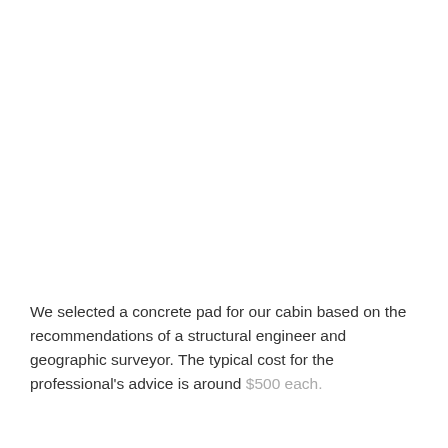We selected a concrete pad for our cabin based on the recommendations of a structural engineer and geographic surveyor. The typical cost for the professional's advice is around $500 each.